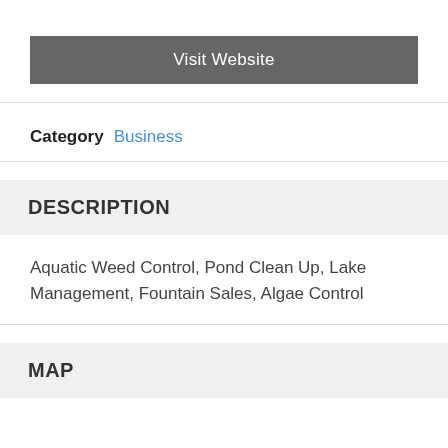Visit Website
Category  Business
DESCRIPTION
Aquatic Weed Control, Pond Clean Up, Lake Management, Fountain Sales, Algae Control
MAP